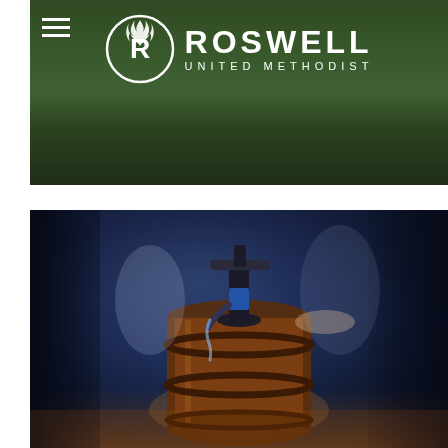[Figure (photo): Top banner photograph of people outdoors in a green setting, with the Roswell United Methodist Church logo overlaid. A hamburger menu icon appears at the top left. The logo features a circular emblem with stylized R and flame, next to the text ROSWELL in large letters and UNITED METHODIST below in smaller spaced letters, all in white.]
[Figure (photo): Large photograph of a person pumping water from a hand pump mounted on a wooden barrel, set in a dark blue-lit indoor environment with blurred people in the background. Warm orange glow at the bottom from floor lighting.]